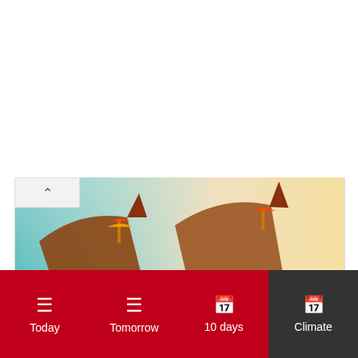[Figure (photo): Photograph of beautiful long tail boats on white sandy shores of a beach in Phuket, Thailand. Boats with colorful decorations in turquoise water near a sandy beach.]
Beautiful long tail boats on the white sandy shores of a beach in Phuket, Thailand
Weather in August
August ▼
Today
Tomorrow
10 days
Climate